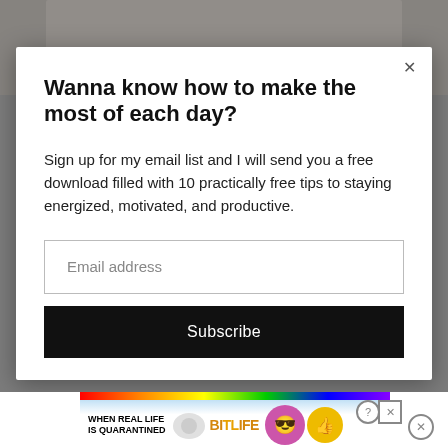[Figure (photo): Partially visible background photo of a person in a chair, dimmed by modal overlay]
Wanna know how to make the most of each day?
Sign up for my email list and I will send you a free download filled with 10 practically free tips to staying energized, motivated, and productive.
[Figure (screenshot): Email address input field (empty, placeholder text)]
Subscribe
[Figure (screenshot): BitLife advertisement banner at the bottom: WHEN REAL LIFE IS QUARANTINED with rainbow, mascot emoji, and BitLife logo]